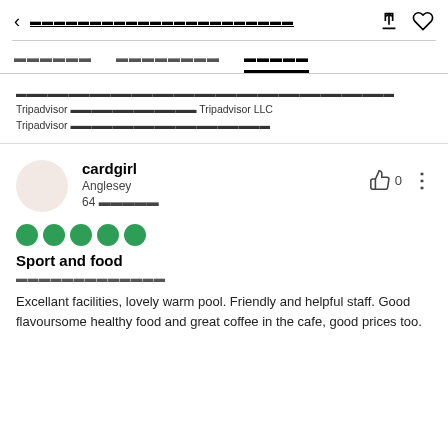< [Thai text navigation title]
[Thai tab 1]   [Thai tab 2]   [Thai tab 3 - active]
[Thai text] Tripadvisor [Thai text] Tripadvisor LLC Tripadvisor [Thai text]
cardgirl
Anglesey
64 [Thai text]
Sport and food
[Thai date text]
Excellant facilities, lovely warm pool. Friendly and helpful staff. Good flavoursome healthy food and great coffee in the cafe, good prices too.